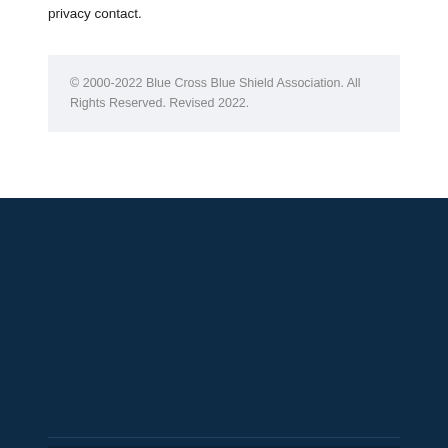privacy contact.
© 2000-2022 Blue Cross Blue Shield Association. All Rights Reserved. Revised 2022.
We use cookies on this website to give you the best experience and measure website usage. By continuing to use this website, you consent to these cookies. For more information, view our privacy policy.